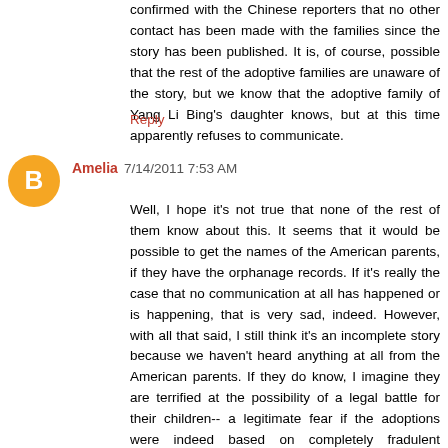confirmed with the Chinese reporters that no other contact has been made with the families since the story has been published. It is, of course, possible that the rest of the adoptive families are unaware of the story, but we know that the adoptive family of Yang Li Bing's daughter knows, but at this time apparently refuses to communicate.
Reply
[Figure (other): Orange circular avatar icon with white letter B blogger logo]
Amelia 7/14/2011 7:53 AM
Well, I hope it's not true that none of the rest of them know about this. It seems that it would be possible to get the names of the American parents, if they have the orphanage records. If it's really the case that no communication at all has happened or is happening, that is very sad, indeed. However, with all that said, I still think it's an incomplete story because we haven't heard anything at all from the American parents. If they do know, I imagine they are terrified at the possibility of a legal battle for their children-- a legitimate fear if the adoptions were indeed based on completely fradulent paperwork. One of those parents said clearly, in one of the Caixin articles, that he wants to bring